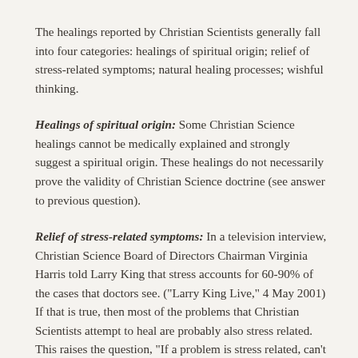The healings reported by Christian Scientists generally fall into four categories: healings of spiritual origin; relief of stress-related symptoms; natural healing processes; wishful thinking.
Healings of spiritual origin: Some Christian Science healings cannot be medically explained and strongly suggest a spiritual origin. These healings do not necessarily prove the validity of Christian Science doctrine (see answer to previous question).
Relief of stress-related symptoms: In a television interview, Christian Science Board of Directors Chairman Virginia Harris told Larry King that stress accounts for 60-90% of the cases that doctors see. ("Larry King Live," 4 May 2001) If that is true, then most of the problems that Christian Scientists attempt to heal are probably also stress related. This raises the question, "If a problem is stress related, can't any stress-reducing technique